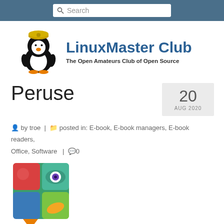Search
[Figure (logo): LinuxMaster Club logo with penguin wearing a yellow hat]
LinuxMaster Club
The Open Amateurs Club of Open Source
Peruse
20 AUG 2020
by troe | posted in: E-book, E-book managers, E-book readers, Office, Software | 0
[Figure (illustration): Peruse app icon showing colorful comic-style faces and a hand holding a book]